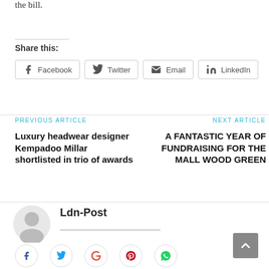the bill.
Share this:
[Figure (other): Share buttons for Facebook, Twitter, Email, LinkedIn]
PREVIOUS ARTICLE
Luxury headwear designer Kempadoo Millar shortlisted in trio of awards
NEXT ARTICLE
A FANTASTIC YEAR OF FUNDRAISING FOR THE MALL WOOD GREEN
Ldn-Post
[Figure (other): Social media icons row at bottom: Facebook, Twitter, Google+, Pinterest, and another icon]